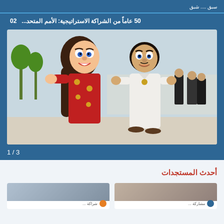سبق ... شبق
02  50 عاماً من الشراكة الاستراتيجية: الأمم المتحد...
[Figure (photo): Two cartoon mascot characters in costumes standing outdoors at what appears to be Expo venue. One character wearing a red dress with golden dots (female), another wearing a white kandura (male). People visible in background.]
1 / 3
أحدث المستجدات
[Figure (photo): News card thumbnail left]
[Figure (photo): News card thumbnail right]